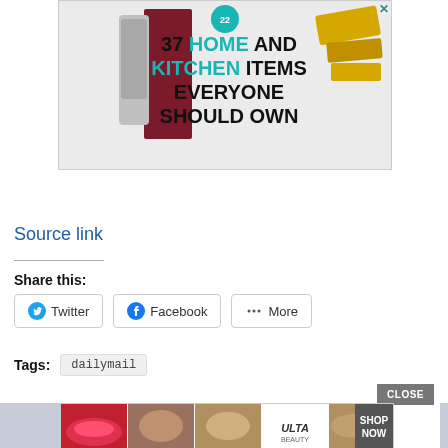[Figure (photo): Advertisement banner: '37 HOME AND KITCHEN ITEMS EVERYONE SHOULD OWN' with kitchen appliances and tools on light gray background]
Source link
Share this:
Twitter  Facebook  More
Tags:  dailymail
[Figure (photo): Bottom advertisement banner for ULTA beauty with lipstick, makeup brush, eyebrow, ULTA logo, eye makeup photos, and SHOP NOW button. CLOSE button visible above.]